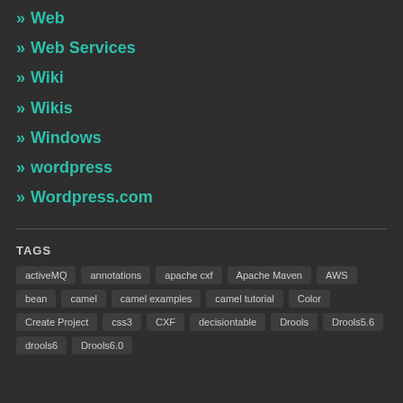Web
Web Services
Wiki
Wikis
Windows
wordpress
Wordpress.com
TAGS
activeMQ annotations apache cxf Apache Maven AWS bean camel camel examples camel tutorial Color Create Project css3 CXF decisiontable Drools Drools5.6 drools6 Drools6.0